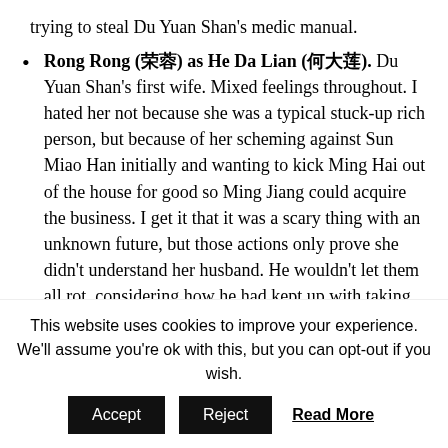trying to steal Du Yuan Shan's medic manual.
Rong Rong (荣蓉) as He Da Lian (何大莲). Du Yuan Shan's first wife. Mixed feelings throughout. I hated her not because she was a typical stuck-up rich person, but because of her scheming against Sun Miao Han initially and wanting to kick Ming Hai out of the house for good so Ming Jiang could acquire the business. I get it that it was a scary thing with an unknown future, but those actions only prove she didn't understand her husband. He wouldn't let them all rot, considering how he had kept up with taking care of the household all these years. I hated also that she got away with being responsible for
This website uses cookies to improve your experience. We'll assume you're ok with this, but you can opt-out if you wish.